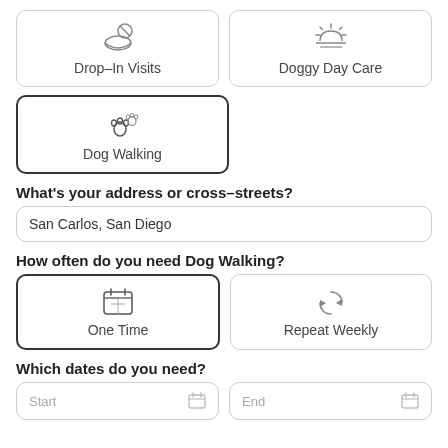[Figure (screenshot): Drop-In Visits service card with icon (dog bowl and paw)]
[Figure (screenshot): Doggy Day Care service card with sun/horizon icon]
[Figure (screenshot): Dog Walking service card with paw prints icon, selected/highlighted]
What's your address or cross-streets?
San Carlos, San Diego
How often do you need Dog Walking?
[Figure (screenshot): One Time frequency card with calendar icon, selected/highlighted]
[Figure (screenshot): Repeat Weekly frequency card with circular arrows icon]
Which dates do you need?
[Figure (screenshot): Start date input box with calendar icon]
[Figure (screenshot): End date input box with calendar icon]